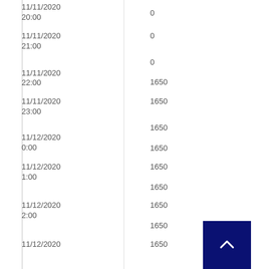| Date/Time | Value |
| --- | --- |
| 11/11/2020 20:00 | 0 |
| 11/11/2020 21:00 | 0 |
| 11/11/2020 22:00 | 0
1650 |
| 11/11/2020 23:00 | 1650 |
| 11/12/2020 0:00 | 1650
1650 |
| 11/12/2020 1:00 | 1650
1650 |
| 11/12/2020 2:00 | 1650
1650 |
| 11/12/2020 | 1650 |